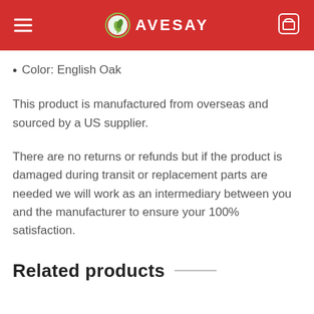AVESAY
Color:  English Oak
This product is manufactured from overseas and sourced by a US supplier.
There are no returns or refunds but if the product is damaged during transit or replacement parts are needed we will work as an intermediary between you and the manufacturer to ensure your 100% satisfaction.
Related products